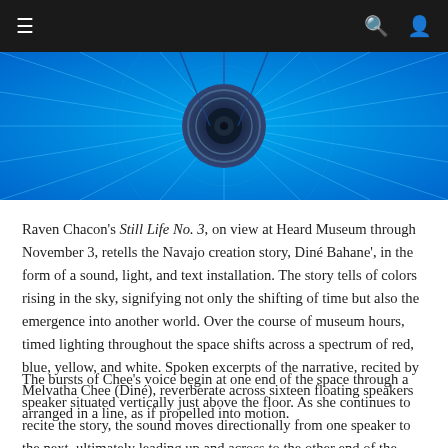≡  🔍  👤
[Figure (photo): Blue-toned overhead view of what appears to be a circular speaker or sound installation element with radiating lines against a vivid blue background.]
Raven Chacon's Still Life No. 3, on view at Heard Museum through November 3, retells the Navajo creation story, Diné Bahane', in the form of a sound, light, and text installation. The story tells of colors rising in the sky, signifying not only the shifting of time but also the emergence into another world. Over the course of museum hours, timed lighting throughout the space shifts across a spectrum of red, blue, yellow, and white. Spoken excerpts of the narrative, recited by Melvatha Chee (Diné), reverberate across sixteen floating speakers arranged in a line, as if propelled into motion.
The bursts of Chee's voice begin at one end of the space through a speaker situated vertically just above the floor. As she continues to recite the story, the sound moves directionally from one speaker to the next, ultimately leading up and across to the other end of the gallery. The individual layers of her voice pile atop one